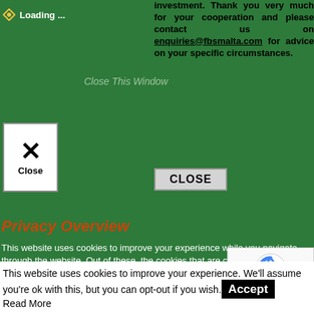Loading ...
investment. Thank you very much for your cooperation and please contact us on enquiries@fbsmalta.com for advice on your specific circumstances.
Close This Window
[Figure (screenshot): Close button with X mark and 'Close' label]
CLOSE
Privacy Overview
This website uses cookies to improve your experience while you navigate through the website. Out of these, the cookies that are categorized as necessary are stored on your browser as they are essential for the working of basic functionalities of the ...
Necessary
Necessary
Always Enabled
Necessary cookies are absolutely essential for the website to function properly. This category only includes cookies that ensures basic functionalities and security features of the website. These cookies do not store any personal information.
Non-necessary
This website uses cookies to improve your experience. We'll assume you're ok with this, but you can opt-out if you wish. Accept Read More